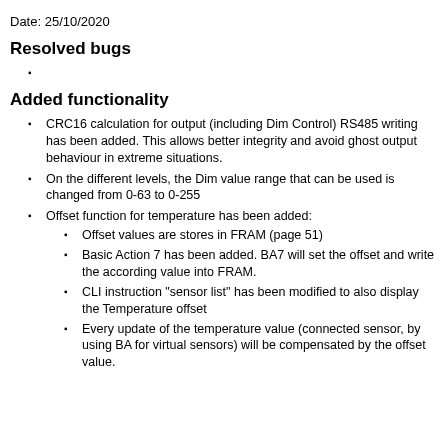Date: 25/10/2020
Resolved bugs
Added functionality
CRC16 calculation for output (including Dim Control) RS485 writing has been added. This allows better integrity and avoid ghost output behaviour in extreme situations.
On the different levels, the Dim value range that can be used is changed from 0-63 to 0-255
Offset function for temperature has been added:
Offset values are stores in FRAM (page 51)
Basic Action 7 has been added. BA7 will set the offset and write the according value into FRAM.
CLI instruction "sensor list" has been modified to also display the Temperature offset
Every update of the temperature value (connected sensor, by using BA for virtual sensors) will be compensated by the offset value.